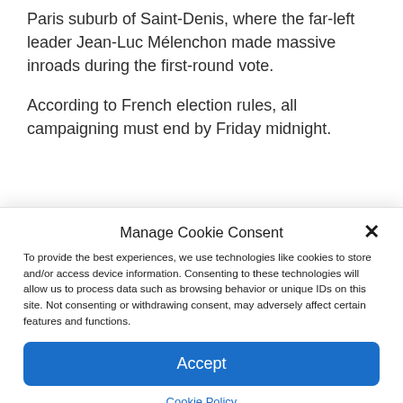Paris suburb of Saint-Denis, where the far-left leader Jean-Luc Mélenchon made massive inroads during the first-round vote.
According to French election rules, all campaigning must end by Friday midnight.
Manage Cookie Consent
To provide the best experiences, we use technologies like cookies to store and/or access device information. Consenting to these technologies will allow us to process data such as browsing behavior or unique IDs on this site. Not consenting or withdrawing consent, may adversely affect certain features and functions.
Accept
Cookie Policy